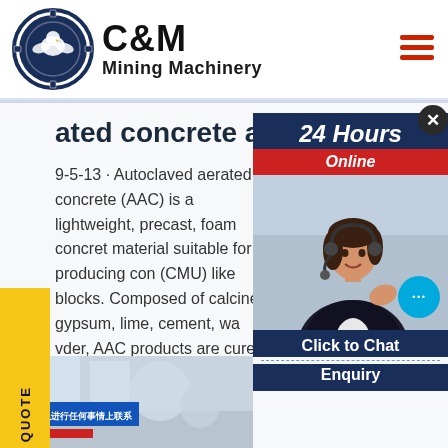[Figure (logo): C&M Mining Machinery logo with eagle in gear circle]
C&M Mining Machinery
aerated concrete africa
9-5-13 · Autoclaved aerated concrete (AAC) is a lightweight, precast, foam concrete material suitable for producing concrete (CMU) like blocks. Composed of calcined gypsum, lime, cement, water and powder, AAC products are cured under pressure in an autoclave.
[Figure (screenshot): 24 Hours Online chat widget with customer service representative photo, Click to Chat and Enquiry buttons]
[Figure (photo): Bottom portion showing interior/factory image with Chinese text banner overlay]